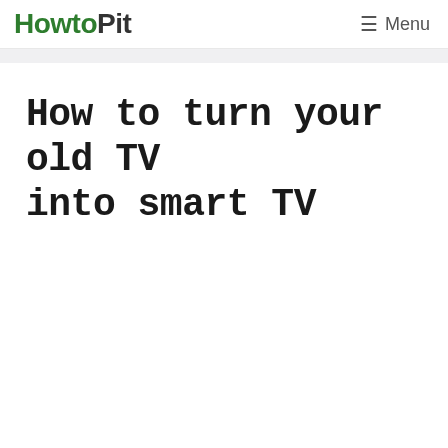HowtoPit   Menu
How to turn your old TV into smart TV